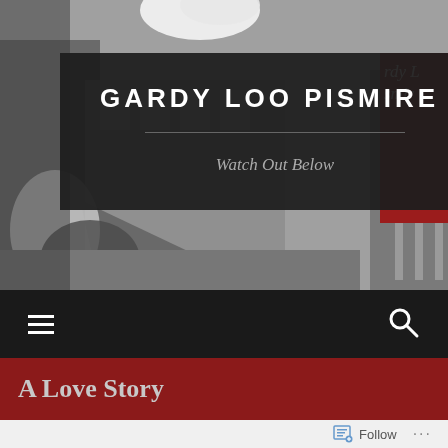[Figure (photo): Grayscale photo of a building exterior with water/splash visible]
GARDY LOO PISMIRE
Watch Out Below
[Figure (screenshot): Navigation bar with hamburger menu icon and search icon on dark background]
A Love Story
Follow ...